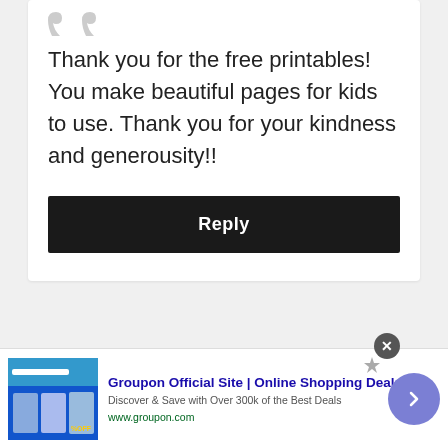Thank you for the free printables! You make beautiful pages for kids to use. Thank you for your kindness and generousity!!
Reply
Groupon Official Site | Online Shopping Deals
Discover & Save with Over 300k of the Best Deals
www.groupon.com